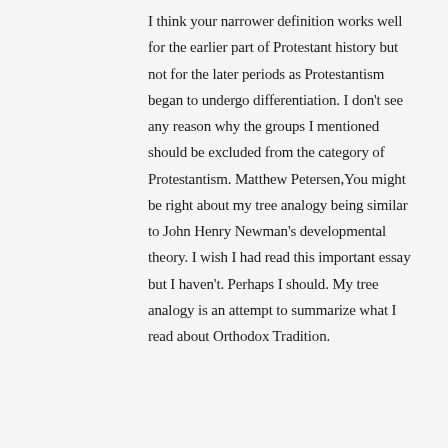I think your narrower definition works well for the earlier part of Protestant history but not for the later periods as Protestantism began to undergo differentiation. I don't see any reason why the groups I mentioned should be excluded from the category of Protestantism. Matthew Petersen,You might be right about my tree analogy being similar to John Henry Newman's developmental theory. I wish I had read this important essay but I haven't. Perhaps I should. My tree analogy is an attempt to summarize what I read about Orthodox Tradition.